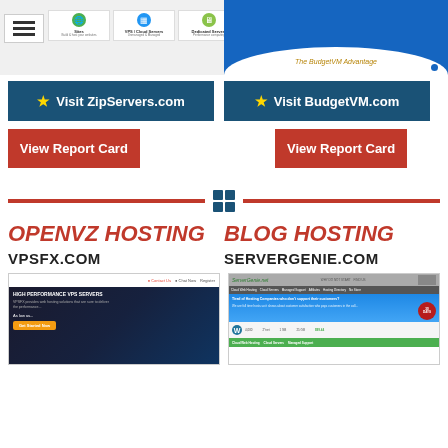[Figure (screenshot): ZipServers.com website screenshot showing hamburger menu and mini service cards]
[Figure (screenshot): BudgetVM.com website screenshot with blue cloud header and 'The BudgetVM Advantage' text]
★ Visit ZipServers.com
★ Visit BudgetVM.com
View Report Card
View Report Card
OPENVZ HOSTING
BLOG HOSTING
VPSFX.COM
SERVERGENIE.COM
[Figure (screenshot): VPSFX.com website screenshot showing 'HIGH PERFORMANCE VPS SERVERS' with dark hero image and Get Started Now button]
[Figure (screenshot): ServerGenie.com website screenshot showing cloud hosting services with WordPress icon and 30-day seal]